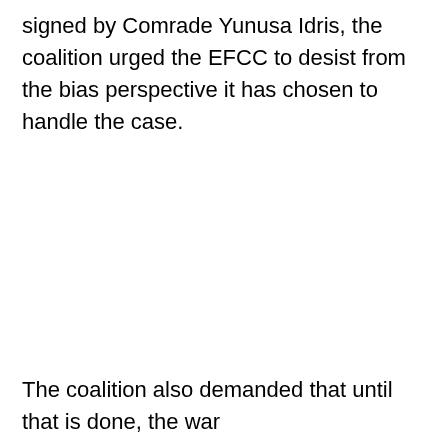signed by Comrade Yunusa Idris, the coalition urged the EFCC to desist from the bias perspective it has chosen to handle the case.
The coalition also demanded that until that is done, the war